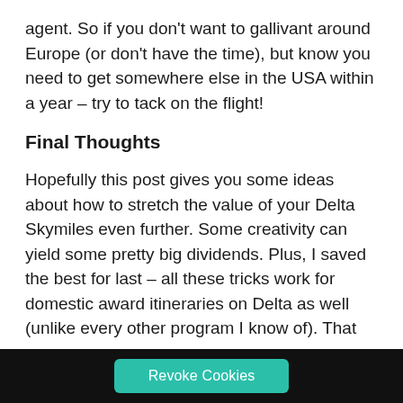agent. So if you don't want to gallivant around Europe (or don't have the time), but know you need to get somewhere else in the USA within a year – try to tack on the flight!
Final Thoughts
Hopefully this post gives you some ideas about how to stretch the value of your Delta Skymiles even further. Some creativity can yield some pretty big dividends. Plus, I saved the best for last – all these tricks work for domestic award itineraries on Delta as well (unlike every other program I know of). That
Revoke Cookies